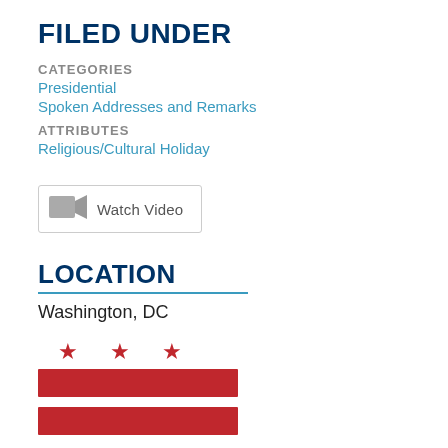FILED UNDER
CATEGORIES
Presidential
Spoken Addresses and Remarks
ATTRIBUTES
Religious/Cultural Holiday
[Figure (other): Watch Video button with gray video camera icon]
LOCATION
Washington, DC
[Figure (illustration): Washington DC flag: three red stars on top, two red bars below, on white background]
SHARE
[Figure (other): Row of social media share buttons (gray placeholders)]